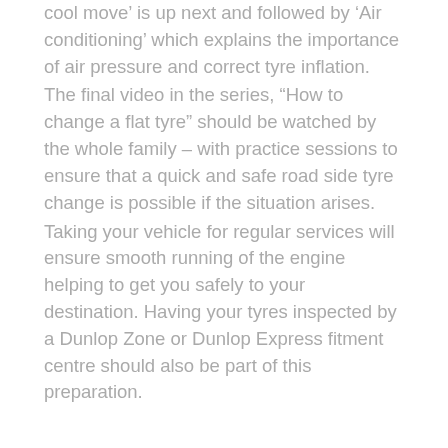cool move' is up next and followed by 'Air conditioning' which explains the importance of air pressure and correct tyre inflation.
The final video in the series, “How to change a flat tyre” should be watched by the whole family – with practice sessions to ensure that a quick and safe road side tyre change is possible if the situation arises.
Taking your vehicle for regular services will ensure smooth running of the engine helping to get you safely to your destination. Having your tyres inspected by a Dunlop Zone or Dunlop Express fitment centre should also be part of this preparation.
Visit the Dunlop Tyres YouTube channel on the following link to watch the videos: